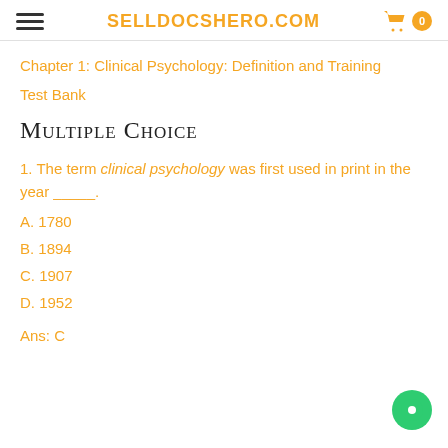SELLDOCSHERO.COM
Chapter 1: Clinical Psychology: Definition and Training
Test Bank
Multiple Choice
1. The term clinical psychology was first used in print in the year _____.
A. 1780
B. 1894
C. 1907
D. 1952
Ans: C